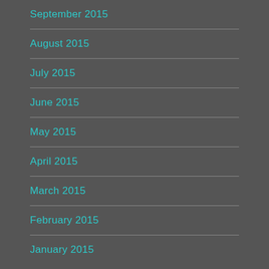September 2015
August 2015
July 2015
June 2015
May 2015
April 2015
March 2015
February 2015
January 2015